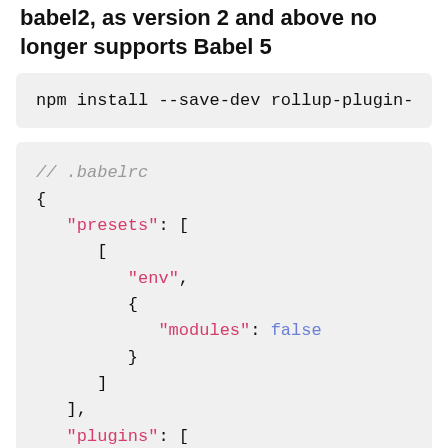babel2, as version 2 and above no longer supports Babel 5
npm install --save-dev rollup-plugin-
// .babelrc
{
  "presets": [
    [
      "env",
      {
        "modules": false
      }
    ]
  ],
  "plugins": [